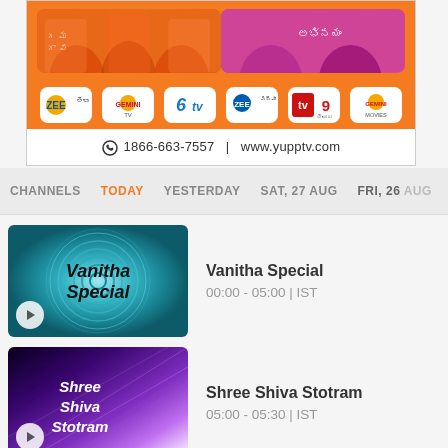[Figure (screenshot): YuppTV advertisement banner with Telugu TV channel logos and contact information: 1866-663-7557 | www.yupptv.com]
CHANNELS  TODAY  YESTERDAY  SAT, 27 AUG  FRI, 26 AUG
[Figure (screenshot): Thumbnail for Vanitha Special program with teal spiral background and bold italic text 'Vanitha Special']
Vanitha Special
00:00 - 05:00 | IST
[Figure (screenshot): Thumbnail for Shree Shiva Stotram program with purple gradient background and italic text 'Shree Shiva Stotram']
Shree Shiva Stotram
05:00 - 05:30 | IST
[Figure (screenshot): Partially visible thumbnail with green background for a third program (Bhakthi Special or similar)]